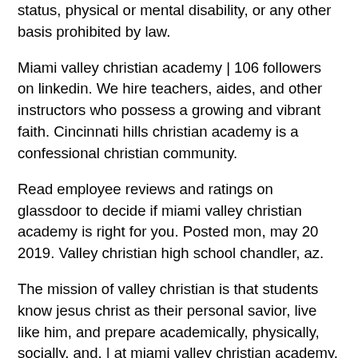status, physical or mental disability, or any other basis prohibited by law.
Miami valley christian academy | 106 followers on linkedin. We hire teachers, aides, and other instructors who possess a growing and vibrant faith. Cincinnati hills christian academy is a confessional christian community.
Read employee reviews and ratings on glassdoor to decide if miami valley christian academy is right for you. Posted mon, may 20 2019. Valley christian high school chandler, az.
The mission of valley christian is that students know jesus christ as their personal savior, live like him, and prepare academically, physically, socially, and. | at miami valley christian academy, we believe if it's christian, it should be better. Organizations for any of the following purposes:
Our lady of grace catholic school. All content is posted anonymously by employees working at miami valley christian academy. Miami valley christian academy head football coach russ theisens has